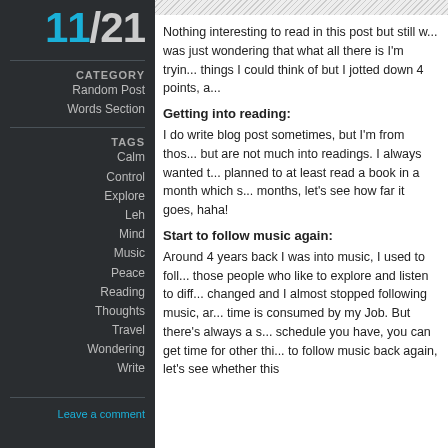11/21
CATEGORY
Random Post
Words Section
TAGS
Calm
Control
Explore
Leh
Mind
Music
Peace
Reading
Thoughts
Travel
Wondering
Write
Leave a comment
Nothing interesting to read in this post but still w... was just wondering that what all there is I'm tryin... things I could think of but I jotted down 4 points, a...
Getting into reading:
I do write blog post sometimes, but I'm from thos... but are not much into readings. I always wanted t... planned to at least read a book in a month which s... months, let's see how far it goes, haha!
Start to follow music again:
Around 4 years back I was into music, I used to foll... those people who like to explore and listen to diff... changed and I almost stopped following music, ar... time is consumed by my Job. But there's always a s... schedule you have, you can get time for other thi... to follow music back again, let's see whether this